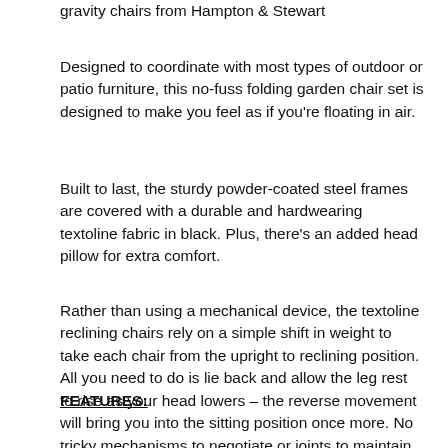gravity chairs from Hampton & Stewart
Designed to coordinate with most types of outdoor or patio furniture, this no-fuss folding garden chair set is designed to make you feel as if you're floating in air.
Built to last, the sturdy powder-coated steel frames are covered with a durable and hardwearing textoline fabric in black. Plus, there's an added head pillow for extra comfort.
Rather than using a mechanical device, the textoline reclining chairs rely on a simple shift in weight to take each chair from the upright to reclining position. All you need to do is lie back and allow the leg rest to rise as your head lowers – the reverse movement will bring you into the sitting position once more. No tricky mechanisms to negotiate or joints to maintain.
FEATURES: